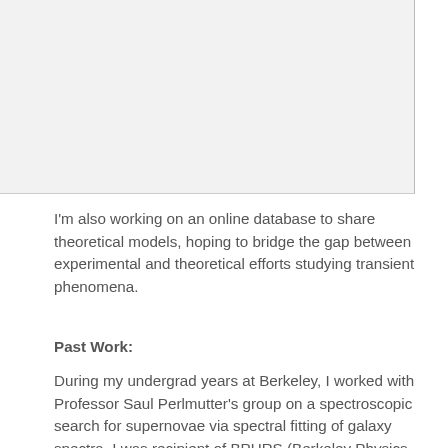[Figure (photo): Image area at top of page, appears to be a partially visible photo or diagram with white and light gray areas]
I'm also working on an online database to share theoretical models, hoping to bridge the gap between experimental and theoretical efforts studying transient phenomena.
Past Work:
During my undergrad years at Berkeley, I worked with Professor Saul Perlmutter's group on a spectroscopic search for supernovae via spectral fitting of galaxy spectra. I was recipient of BPURS (Berkeley Physics Undergraduate Research Scholarship) four times, and spent quite a bit of time learning the tools of the trade from one of the best experimental cosmology groups in the world.
I went on to work with Dr. Peter Nugent and the